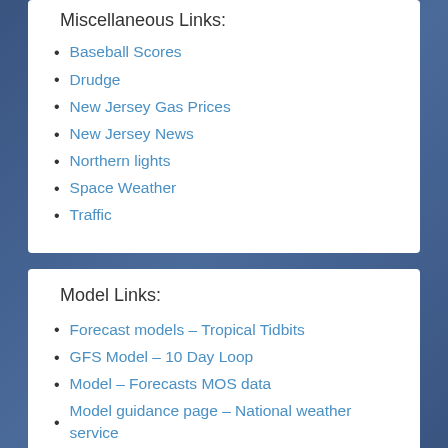Miscellaneous Links:
Baseball Scores
Drudge
New Jersey Gas Prices
New Jersey News
Northern lights
Space Weather
Traffic
Model Links:
Forecast models – Tropical Tidbits
GFS Model – 10 Day Loop
Model – Forecasts MOS data
Model guidance page – National weather service
Radar links:
Northeast radar – from Penn State